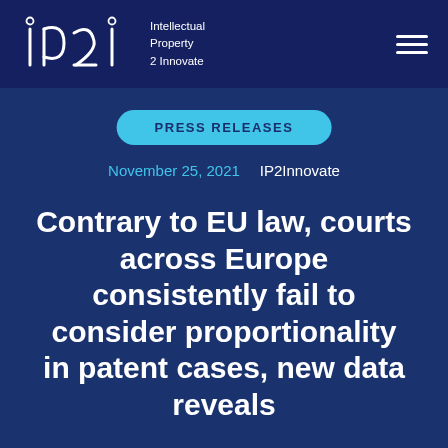[Figure (logo): IP2Innovate logo — geometric 'ip2i' lettermark in white outline on dark navy, with text 'Intellectual Property 2 Innovate' beside it]
PRESS RELEASES
November 25, 2021    IP2Innovate
Contrary to EU law, courts across Europe consistently fail to consider proportionality in patent cases, new data reveals